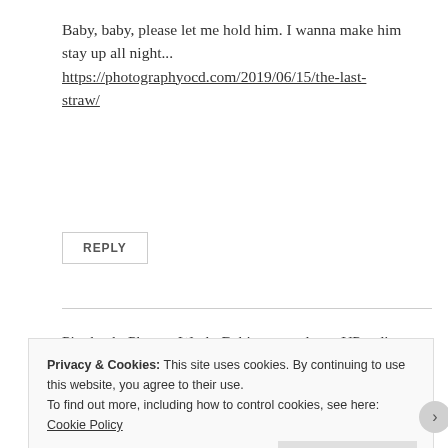Baby, baby, please let me hold him. I wanna make him stay up all night...
https://photographyocd.com/2019/06/15/the-last-straw/
REPLY
Pingback: Photo a Week: Babies – one letter UP ~ diary 2.0
Privacy & Cookies: This site uses cookies. By continuing to use this website, you agree to their use.
To find out more, including how to control cookies, see here: Cookie Policy
Close and accept